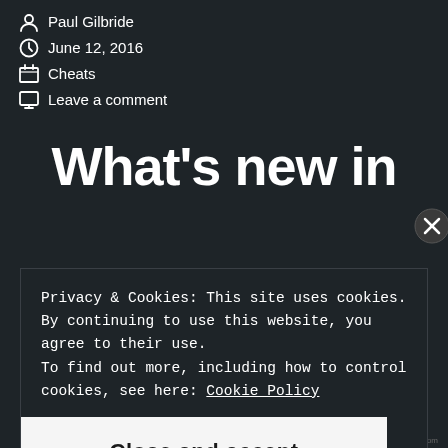Paul Gilbride
June 12, 2016
Cheats
Leave a comment
What's new in
Privacy & Cookies: This site uses cookies. By continuing to use this website, you agree to their use. To find out more, including how to control cookies, see here: Cookie Policy
Close and accept